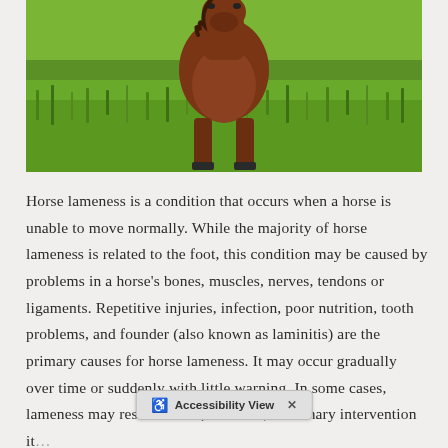[Figure (photo): A brown horse standing in a green grassy field, photographed from the front/side. The horse appears to be a young adult with a reddish-brown coat.]
Horse lameness is a condition that occurs when a horse is unable to move normally. While the majority of horse lameness is related to the foot, this condition may be caused by problems in a horse's bones, muscles, nerves, tendons or ligaments. Repetitive injuries, infection, poor nutrition, tooth problems, and founder (also known as laminitis) are the primary causes for horse lameness. It may occur gradually over time or suddenly with little warning. In some cases, lameness may resolve itself; however, veterinary intervention it... ...actively